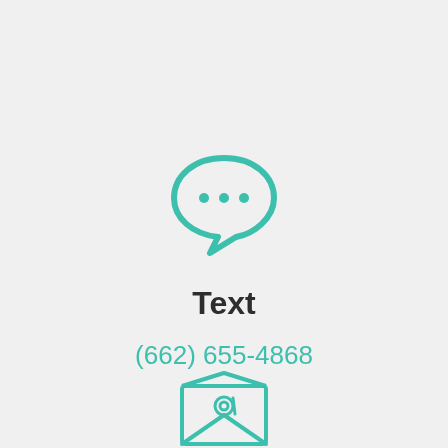[Figure (illustration): Teal speech bubble icon with three dots inside, representing a text/chat feature]
Text
(662) 655-4868
[Figure (illustration): Teal open envelope icon with an @ symbol on the letter inside, representing email]